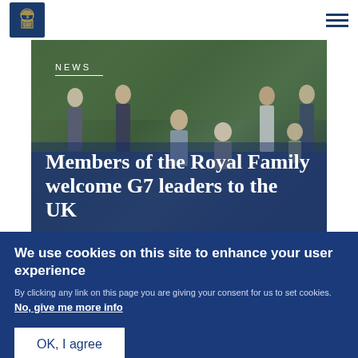Royal.uk navigation header with royal crest logo and menu icon
[Figure (photo): Group photo of members of the Royal Family with G7 leaders standing and kneeling outdoors in front of a hedge, with overlay text reading NEWS and headline Members of the Royal Family welcome G7 leaders to the UK]
Members of the Royal Family welcome G7 leaders to the UK
We use cookies on this site to enhance your user experience
By clicking any link on this page you are giving your consent for us to set cookies. No, give me more info
OK, I agree